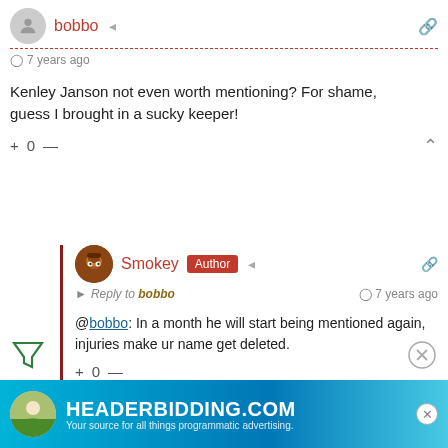bobbo
7 years ago
Kenley Janson not even worth mentioning? For shame, guess I brought in a sucky keeper!
+ 0 —
Smokey Author
Reply to bobbo   7 years ago
@bobbo: In a month he will start being mentioned again, injuries make ur name get deleted.
+ 0 —
[Figure (infographic): Advertisement banner for HEADERBIDDING.COM with tagline 'Your source for all things programmatic advertising.']